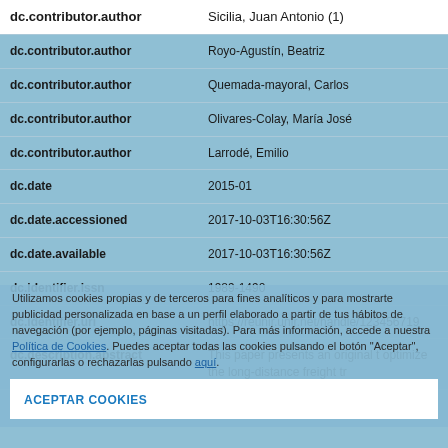| Field | Value |
| --- | --- |
| dc.contributor.author | Sicilia, Juan Antonio (1) |
| dc.contributor.author | Royo-Agustín, Beatriz |
| dc.contributor.author | Quemada-mayoral, Carlos |
| dc.contributor.author | Olivares-Colay, María José |
| dc.contributor.author | Larrodé, Emilio |
| dc.date | 2015-01 |
| dc.date.accessioned | 2017-10-03T16:30:56Z |
| dc.date.available | 2017-10-03T16:30:56Z |
| dc.identifier.issn | 1989-1490 |
| dc.identifier.uri | https://reunir.unir.net/handle/12345671​9 |
| dc.description.abstract | This paper presents an original t optimize the long-distance freight tr |